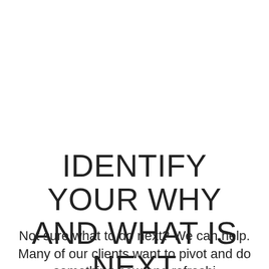IDENTIFY YOUR WHY AND WHAT IS NEXT
Not sure what to do next? We can help. Many of our clients want to pivot and do something new and refreshing